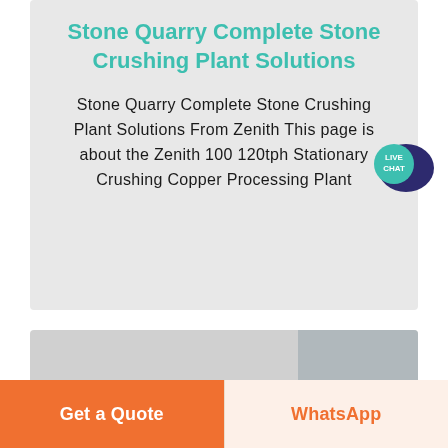Stone Quarry Complete Stone Crushing Plant Solutions
Stone Quarry Complete Stone Crushing Plant Solutions From Zenith This page is about the Zenith 100 120tph Stationary Crushing Copper Processing Plant
[Figure (screenshot): Live chat bubble icon in top right corner showing dark blue speech bubble with teal circle labeled LIVE CHAT]
[Figure (photo): Partial bottom strip showing grey industrial image partially visible]
Get a Quote
WhatsApp